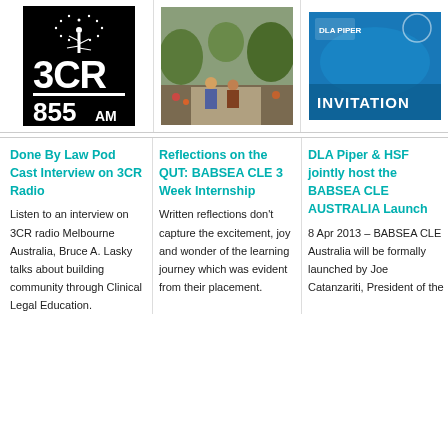[Figure (logo): 3CR 855AM radio station logo — black background with white dandelion and bold white text '3CR' and '855AM']
[Figure (photo): Outdoor photo of two people sitting in a garden area]
[Figure (photo): INVITATION graphic with DLA Piper and BABSEA CLE logos on blue background]
Done By Law Pod Cast Interview on 3CR Radio
Listen to an interview on 3CR radio Melbourne Australia, Bruce A. Lasky talks about building community through Clinical Legal Education.
Reflections on the QUT: BABSEA CLE 3 Week Internship
Written reflections don't capture the excitement, joy and wonder of the learning journey which was evident from their placement.
DLA Piper & HSF jointly host the BABSEA CLE AUSTRALIA Launch
8 Apr 2013 – BABSEA CLE Australia will be formally launched by Joe Catanzariti, President of the